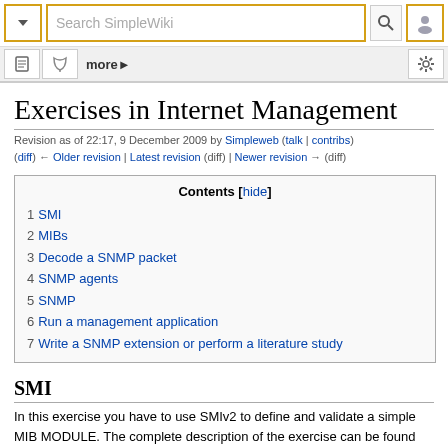SimpleWiki navigation bar with search field, document tab, talk tab, more, and settings
Exercises in Internet Management
Revision as of 22:17, 9 December 2009 by Simpleweb (talk | contribs)
(diff) ← Older revision | Latest revision (diff) | Newer revision → (diff)
| Contents [hide] |
| --- |
| 1 SMI |
| 2 MIBs |
| 3 Decode a SNMP packet |
| 4 SNMP agents |
| 5 SNMP |
| 6 Run a management application |
| 7 Write a SNMP extension or perform a literature study |
SMI
In this exercise you have to use SMIv2 to define and validate a simple MIB MODULE. The complete description of the exercise can be found here.
MIB